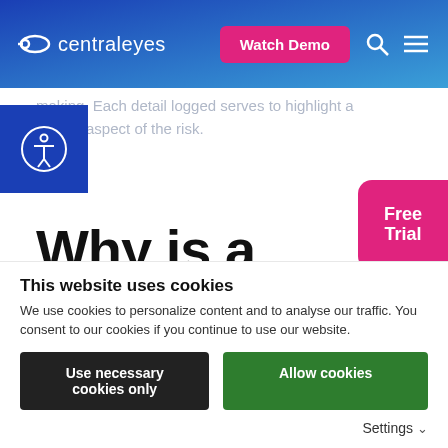centraleyes | Watch Demo
making. Each detail logged serves to highlight a erence aspect of the risk.
Why is a cyber risk register important?
Doing your due diligence means you'll have a plan i...
Free Trial
This website uses cookies
We use cookies to personalize content and to analyse our traffic. You consent to our cookies if you continue to use our website.
Use necessary cookies only | Allow cookies | Settings